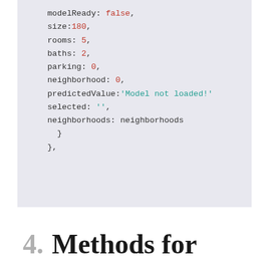[Figure (screenshot): Code block on light grey background showing JavaScript data object properties: modelReady: false, size:180, rooms: 5, baths: 2, parking: 0, neighborhood: 0, predictedValue:'Model not loaded!', selected: '', neighborhoods: neighborhoods, followed by closing braces]
4. Methods for